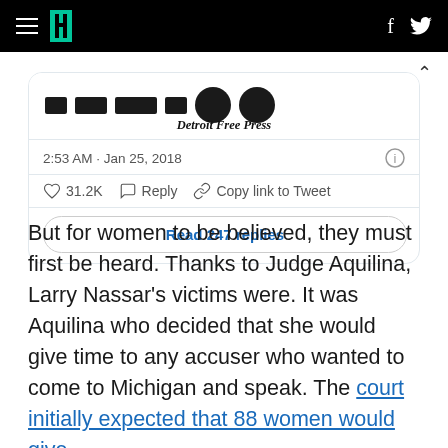HuffPost navigation bar with hamburger menu, logo, Facebook and Twitter icons
[Figure (screenshot): Partial tweet embed showing redacted headline image with Detroit Free Press logo, timestamp 2:53 AM · Jan 25, 2018, 31.2K likes, Reply, Copy link to Tweet actions, and Read 247 replies button]
But for women to be believed, they must first be heard. Thanks to Judge Aquilina, Larry Nassar's victims were. It was Aquilina who decided that she would give time to any accuser who wanted to come to Michigan and speak. The court initially expected that 88 women would give